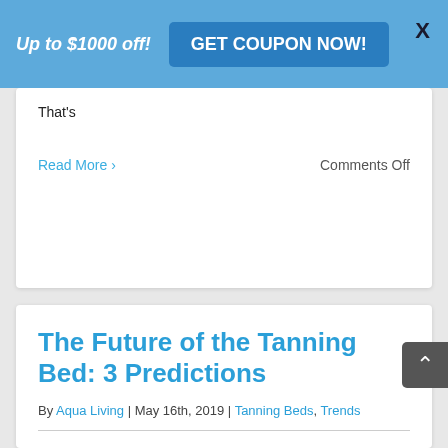Up to $1000 off! GET COUPON NOW! X
That's
Read More >   Comments Off
The Future of the Tanning Bed: 3 Predictions
By Aqua Living | May 16th, 2019 | Tanning Beds, Trends
The tanning bed has had a long and fascinating history. As it turns out, the future of the tanning bed may prove to be just as interesting. From a more positive public view of